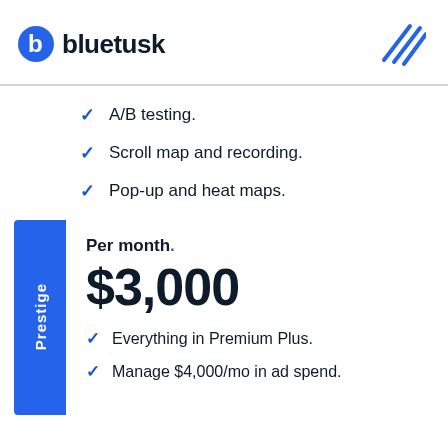[Figure (logo): Bluetusk logo with blue circular 'b' icon and text 'bluetusk' in dark bold font, plus decorative blue diagonal lines icon on the right]
A/B testing.
Scroll map and recording.
Pop-up and heat maps.
Per month.
$3,000
Everything in Premium Plus.
Manage $4,000/mo in ad spend.